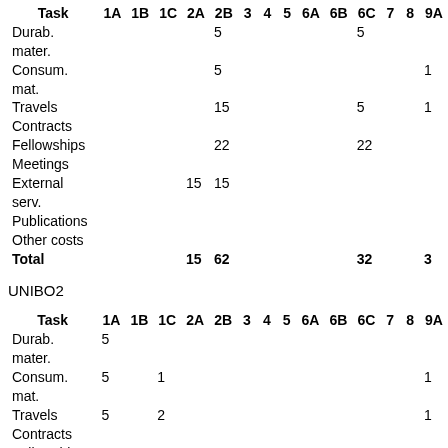| Task | 1A | 1B | 1C | 2A | 2B | 3 | 4 | 5 | 6A | 6B | 6C | 7 | 8 | 9A |
| --- | --- | --- | --- | --- | --- | --- | --- | --- | --- | --- | --- | --- | --- | --- |
| Durab. mater. |  |  |  |  | 5 |  |  |  |  |  | 5 |  |  |  |
| Consum. mat. |  |  |  |  | 5 |  |  |  |  |  |  |  |  | 1 |
| Travels |  |  |  |  | 15 |  |  |  |  |  | 5 |  |  | 1 |
| Contracts |  |  |  |  |  |  |  |  |  |  |  |  |  |  |
| Fellowships |  |  |  |  | 22 |  |  |  |  |  | 22 |  |  |  |
| Meetings |  |  |  |  |  |  |  |  |  |  |  |  |  |  |
| External serv. |  |  |  | 15 | 15 |  |  |  |  |  |  |  |  |  |
| Publications |  |  |  |  |  |  |  |  |  |  |  |  |  |  |
| Other costs |  |  |  |  |  |  |  |  |  |  |  |  |  |  |
| Total |  |  |  | 15 | 62 |  |  |  |  |  | 32 |  |  | 3 |
UNIBO2
| Task | 1A | 1B | 1C | 2A | 2B | 3 | 4 | 5 | 6A | 6B | 6C | 7 | 8 | 9A |
| --- | --- | --- | --- | --- | --- | --- | --- | --- | --- | --- | --- | --- | --- | --- |
| Durab. mater. | 5 |  |  |  |  |  |  |  |  |  |  |  |  |  |
| Consum. mat. | 5 |  | 1 |  |  |  |  |  |  |  |  |  |  | 1 |
| Travels | 5 |  | 2 |  |  |  |  |  |  |  |  |  |  | 1 |
| Contracts |  |  |  |  |  |  |  |  |  |  |  |  |  |  |
| Fellowships |  |  | 22 |  |  |  |  |  |  |  |  |  |  |  |
| Meetings |  |  |  |  |  |  |  |  |  |  |  |  |  |  |